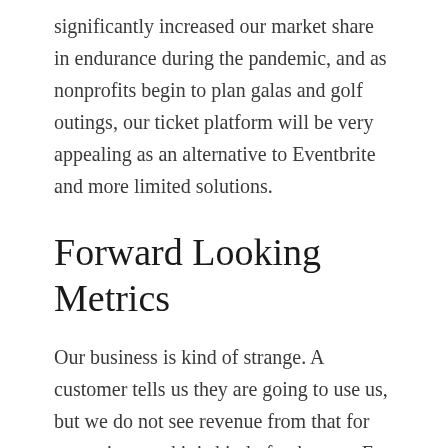significantly increased our market share in endurance during the pandemic, and as nonprofits begin to plan galas and golf outings, our ticket platform will be very appealing as an alternative to Eventbrite and more limited solutions.
Forward Looking Metrics
Our business is kind of strange. A customer tells us they are going to use us, but we do not see revenue from that for some time, and it is kind of unknown. For example, a great nonprofit just told us they were going to use us for a 5,000 ticket event this past week – Yay! But they will not open selling the tickets until May, and will sell them thru August. And they